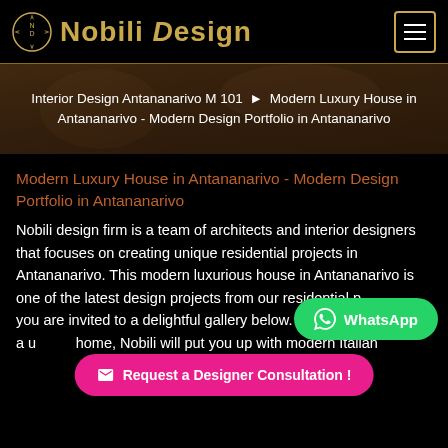Nobili Design
Interior Design Antananarivo M 101 ▶ Modern Luxury House in Antananarivo - Modern Design Portfolio in Antananarivo
Modern Luxury House in Antananarivo - Modern Design Portfolio in Antananarivo
Nobili design firm is a team of architects and interior designers that focuses on creating unique residential projects in Antananarivo. This modern luxurious house in Antananarivo is one of the latest design projects from our residential p... you are invited to a delightful gallery below. As long as you need a u... home, Nobili will put you up with modern Italian furni...